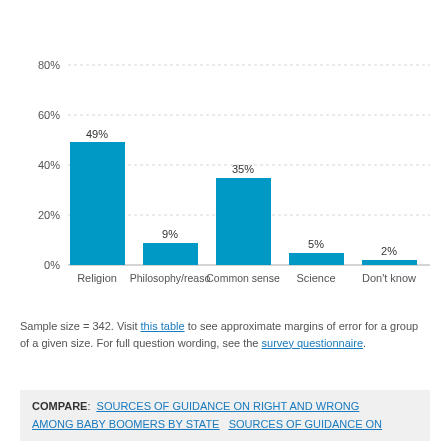[Figure (bar-chart): ]
Sample size = 342. Visit this table to see approximate margins of error for a group of a given size. For full question wording, see the survey questionnaire.
COMPARE: SOURCES OF GUIDANCE ON RIGHT AND WRONG AMONG BABY BOOMERS BY STATE  SOURCES OF GUIDANCE ON